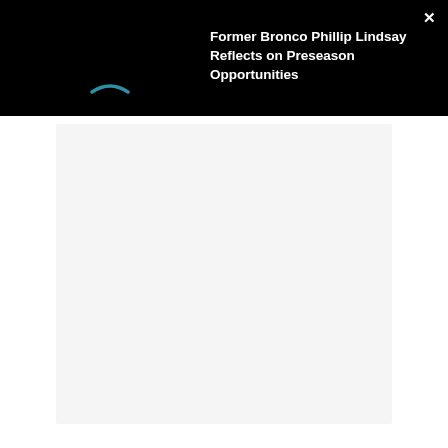Former Bronco Phillip Lindsay Reflects on Preseason Opportunities
[Figure (screenshot): Loading spinner arc in teal/blue color on black background, indicating video content is loading]
[Figure (screenshot): Light gray rectangular content area below the modal header, representing a loading video player or content placeholder]